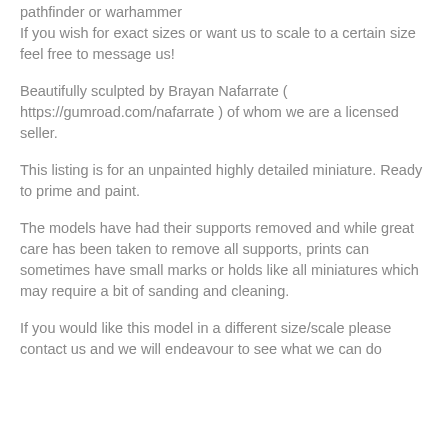pathfinder or warhammer If you wish for exact sizes or want us to scale to a certain size feel free to message us!
Beautifully sculpted by Brayan Nafarrate ( https://gumroad.com/nafarrate ) of whom we are a licensed seller.
This listing is for an unpainted highly detailed miniature. Ready to prime and paint.
The models have had their supports removed and while great care has been taken to remove all supports, prints can sometimes have small marks or holds like all miniatures which may require a bit of sanding and cleaning.
If you would like this model in a different size/scale please contact us and we will endeavour to see what we can do